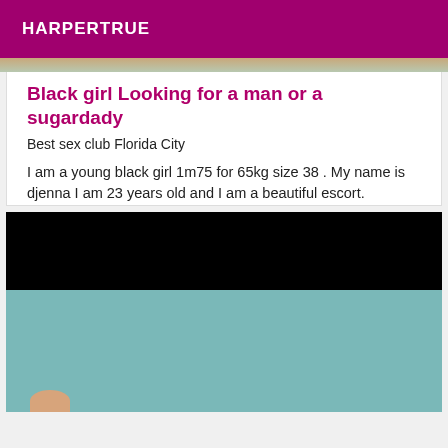HARPERTRUE
[Figure (photo): Partial top image strip showing blurred photo content]
Black girl Looking for a man or a sugardady
Best sex club Florida City
I am a young black girl 1m75 for 65kg size 38 . My name is djenna I am 23 years old and I am a beautiful escort.
[Figure (photo): Photo partially visible: upper black area and lower teal/blue-green area with a hint of a finger at bottom]